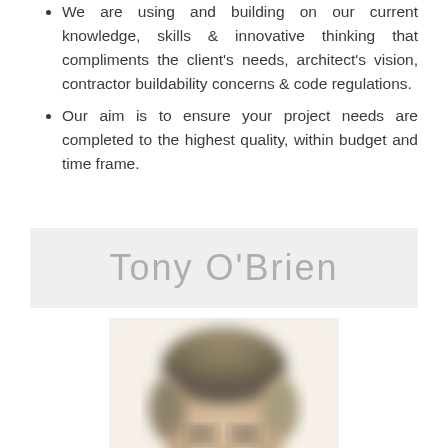We are using and building on our current knowledge, skills & innovative thinking that compliments the client's needs, architect's vision, contractor buildability concerns & code regulations.
Our aim is to ensure your project needs are completed to the highest quality, within budget and time frame.
Tony O'Brien
[Figure (photo): A blurred portrait photo of a man (Tony O'Brien), visible from shoulders up, with short grey-blonde hair, glasses, against a white background.]